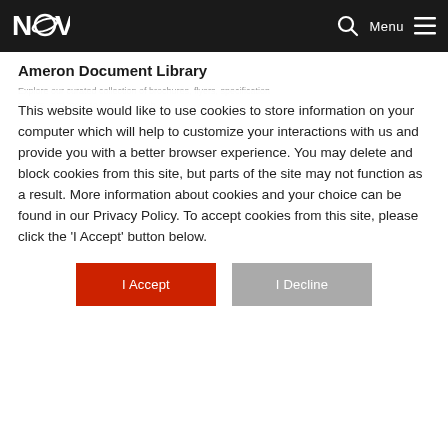NOY [logo] | Search | Menu
Ameron Document Library
Explore our curated collection of brochures, flyers, specification sheets, and more to learn more ab…
This website would like to use cookies to store information on your computer which will help to customize your interactions with us and provide you with a better browser experience. You may delete and block cookies from this site, but parts of the site may not function as a result. More information about cookies and your choice can be found in our Privacy Policy. To accept cookies from this site, please click the 'I Accept' button below.
I Accept | I Decline